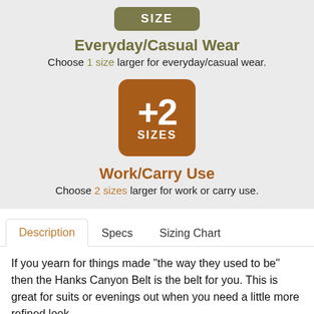SIZE
Everyday/Casual Wear
Choose 1 size larger for everyday/casual wear.
[Figure (infographic): Brown rounded rectangle badge showing '+2 SIZES' in white text]
Work/Carry Use
Choose 2 sizes larger for work or carry use.
Description | Specs | Sizing Chart (tabs)
If you yearn for things made "the way they used to be" then the Hanks Canyon Belt is the belt for you. This is great for suits or evenings out when you need a little more refined look.